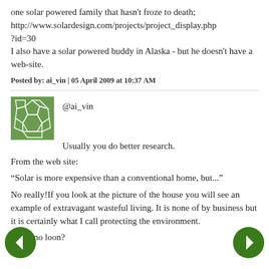one solar powered family that hasn't froze to death; http://www.solardesign.com/projects/project_display.php?id=30
I also have a solar powered buddy in Alaska - but he doesn't have a web-site.
Posted by: ai_vin | 05 April 2009 at 10:37 AM
[Figure (illustration): Green avatar icon with white geometric soccer-ball-like pattern]
@ai_vin
Usually you do better research.
From the web site:
“Solar is more expensive than a conventional home, but...”
No really!If you look at the picture of the house you will see an example of extravagant wasteful living. It is none of by business but it is certainly what I call protecting the environment.
No or no loon?